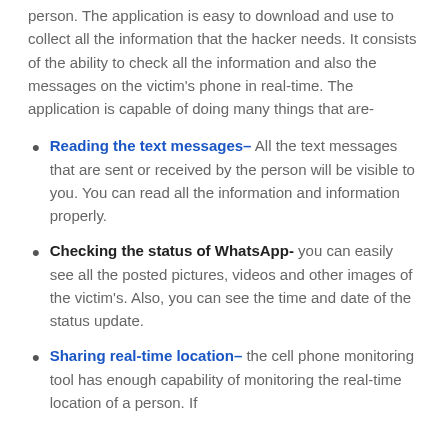person. The application is easy to download and use to collect all the information that the hacker needs. It consists of the ability to check all the information and also the messages on the victim's phone in real-time. The application is capable of doing many things that are-
Reading the text messages– All the text messages that are sent or received by the person will be visible to you. You can read all the information and information properly.
Checking the status of WhatsApp- you can easily see all the posted pictures, videos and other images of the victim's. Also, you can see the time and date of the status update.
Sharing real-time location– the cell phone monitoring tool has enough capability of monitoring the real-time location of a person. If